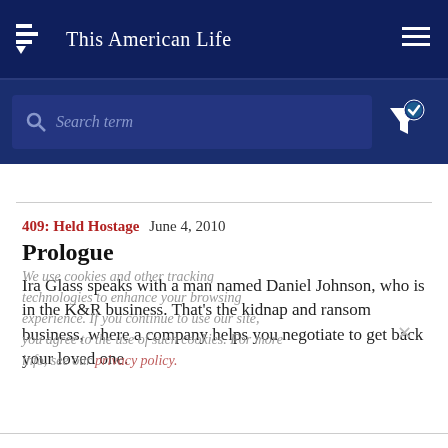This American Life
[Figure (screenshot): Search bar with placeholder text 'Search term' and filter icon with checkmark]
409: Held Hostage  June 4, 2010
Prologue
Ira Glass speaks with a man named Daniel Johnson, who is in the K&R business. That's the kidnap and ransom business, where a company helps you negotiate to get back your loved one.
We use cookies and other tracking technologies to enhance your browsing experience. If you continue to use our site, you agree to the use of such cookies. For more info, see our privacy policy.